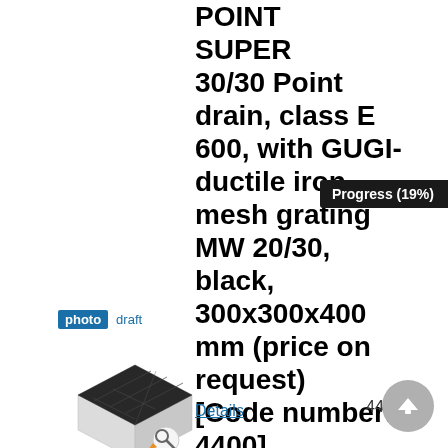POINT SUPER 30/30 Point drain, class E 600, with GUGI-ductile iron mesh grating MW 20/30, black, 300x300x400 mm (price on request) [Code number: 4400]
[Figure (photo): Product photo of a square drain with dark mesh grating on a light grey body, with a zoom icon overlay. Links: photo (highlighted in blue), draft (blue text).]
4400
Progress (19%)
Details